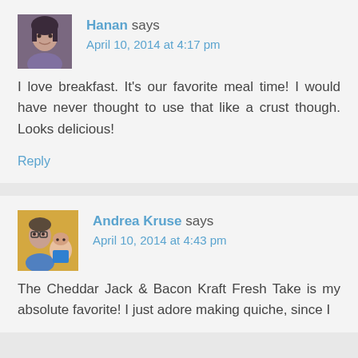[Figure (photo): Avatar photo of Hanan, a woman with dark hair]
Hanan says
April 10, 2014 at 4:17 pm
I love breakfast. It’s our favorite meal time! I would have never thought to use that like a crust though. Looks delicious!
Reply
[Figure (photo): Avatar photo of Andrea Kruse, a woman with glasses and a young child]
Andrea Kruse says
April 10, 2014 at 4:43 pm
The Cheddar Jack & Bacon Kraft Fresh Take is my absolute favorite! I just adore making quiche, since I